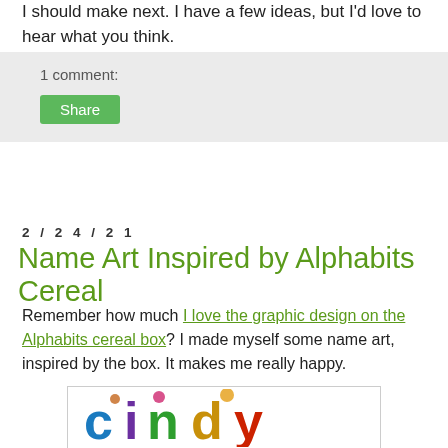I should make next. I have a few ideas, but I'd love to hear what you think.
1 comment:
Share
2/24/21
Name Art Inspired by Alphabits Cereal
Remember how much I love the graphic design on the Alphabits cereal box? I made myself some name art, inspired by the box. It makes me really happy.
[Figure (illustration): Colorful name art spelling 'Cindy' in Alphabits cereal box style, with large cartoon letters in blue, purple, green, yellow/orange, and red, decorated with small food character icons.]